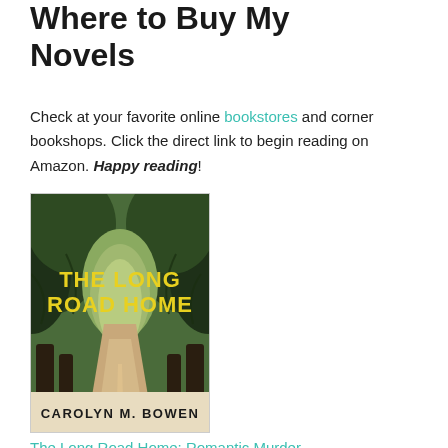Where to Buy My Novels
Check at your favorite online bookstores and corner bookshops. Click the direct link to begin reading on Amazon. Happy reading!
[Figure (photo): Book cover of 'The Long Road Home' by Carolyn M. Bowen. Shows a tree-lined road/path with overhanging branches forming a tunnel. Title text in bold yellow/gold letters, author name at bottom in dark text on light background.]
The Long Road Home: Romantic Murder